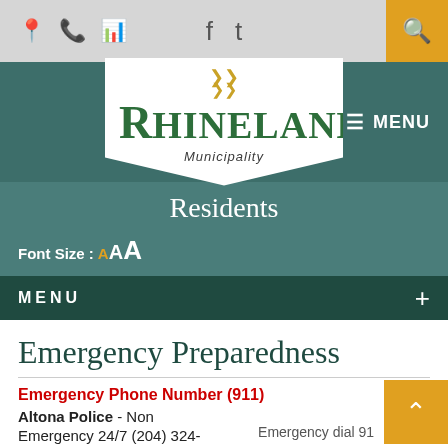Location | Phone | Grid | Facebook | Twitter | Search
[Figure (logo): Rhineland Municipality logo with green R and chevron]
MENU
Residents
Font Size : A AA
MENU +
Emergency Preparedness
Emergency Phone Number (911)
Altona Police - Non Emergency dial 91
Emergency 24/7 (204) 324-